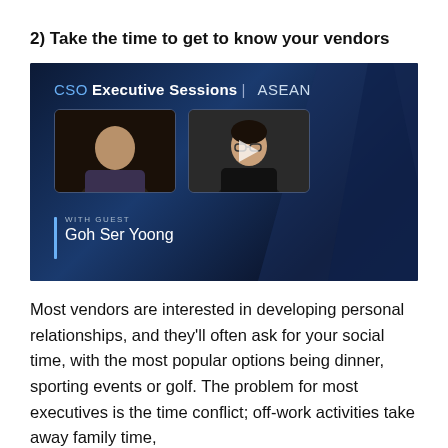2) Take the time to get to know your vendors
[Figure (screenshot): CSO Executive Sessions ASEAN video thumbnail showing two people and a play button, with guest Goh Ser Yoong]
Most vendors are interested in developing personal relationships, and they'll often ask for your social time, with the most popular options being dinner, sporting events or golf. The problem for most executives is the time conflict; off-work activities take away family time,